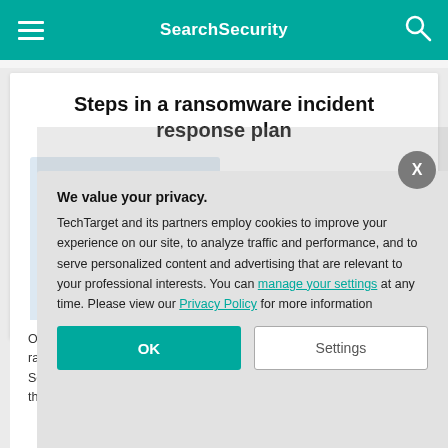SearchSecurity
Steps in a ransomware incident response plan
[Figure (illustration): Illustration of two people with a large smartphone showing analytics/charts, representing mobile security or incident response.]
Organizations w… ransomware, bu… Security profess… the malware to m…
We value your privacy. TechTarget and its partners employ cookies to improve your experience on our site, to analyze traffic and performance, and to serve personalized content and advertising that are relevant to your professional interests. You can manage your settings at any time. Please view our Privacy Policy for more information